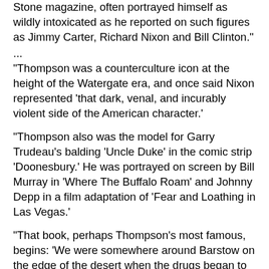Stone magazine, often portrayed himself as wildly intoxicated as he reported on such figures as Jimmy Carter, Richard Nixon and Bill Clinton."
...
"Thompson was a counterculture icon at the height of the Watergate era, and once said Nixon represented 'that dark, venal, and incurably violent side of the American character.'
"Thompson also was the model for Garry Trudeau's balding 'Uncle Duke' in the comic strip 'Doonesbury.' He was portrayed on screen by Bill Murray in 'Where The Buffalo Roam' and Johnny Depp in a film adaptation of 'Fear and Loathing in Las Vegas.'
"That book, perhaps Thompson's most famous, begins: 'We were somewhere around Barstow on the edge of the desert when the drugs began to take hold.'"'
...
"Born in 1937, in Kentucky, Hunter Stocton Thompson served two years in the Air Force, where he was a newspaper sports editor. He later became a proud member of the National Rifle Association and almost was elected ...